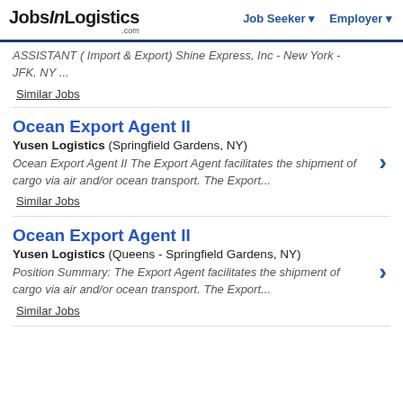JobsInLogistics.com | Job Seeker | Employer
ASSISTANT ( Import & Export) Shine Express, Inc - New York - JFK, NY ...
Similar Jobs
Ocean Export Agent II
Yusen Logistics (Springfield Gardens, NY)
Ocean Export Agent II The Export Agent facilitates the shipment of cargo via air and/or ocean transport. The Export...
Similar Jobs
Ocean Export Agent II
Yusen Logistics (Queens - Springfield Gardens, NY)
Position Summary: The Export Agent facilitates the shipment of cargo via air and/or ocean transport. The Export...
Similar Jobs